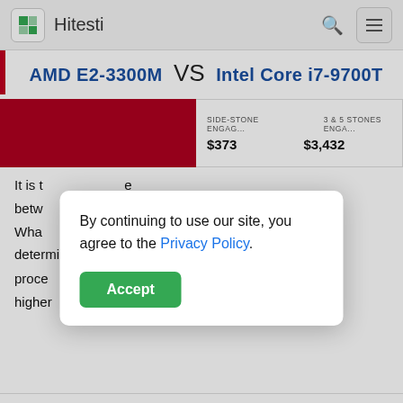Hitesti
AMD E2-3300M VS Intel Core i7-9700T
[Figure (screenshot): Advertisement banner showing jewelry products: SIDE-STONE ENGAG... $373 and 3 & 5 STONES ENGA... $3,432]
It is t...e betw... Wha... determine – look at comparison table. The proces...ith higher
By continuing to use our site, you agree to the Privacy Policy.
Accept